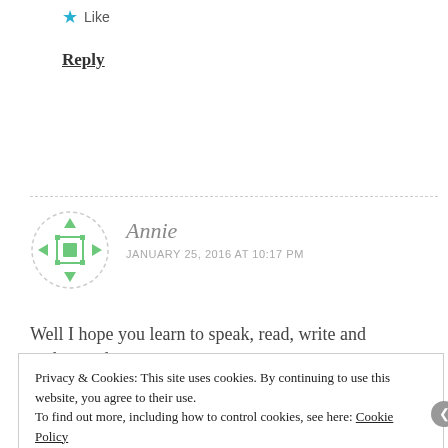★ Like
Reply
[Figure (illustration): Circular avatar icon with green decorative geometric pattern on light grey dashed border circle background, for user Annie]
Annie
JANUARY 25, 2016 AT 10:17 PM
Well I hope you learn to speak, read, write and understand
Privacy & Cookies: This site uses cookies. By continuing to use this website, you agree to their use.
To find out more, including how to control cookies, see here: Cookie Policy
Close and accept